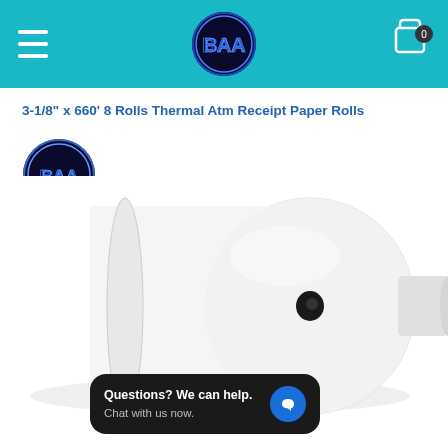[Figure (logo): Website header navigation bar with teal/cyan background, hamburger menu icon on left, circular logo with 'BAA' text in center, and shopping bag icon with '0' badge on right]
3-1/8" x 660' 8 Rolls Thermal Atm Receipt Paper Rolls
[Figure (logo): Circular logo with 'BAA' lettering in blue metallic style on dark background]
[Figure (photo): Product photo of a large white thermal paper roll lying on its side showing the cardboard core in the center]
Questions? We can help. Chat with us now.